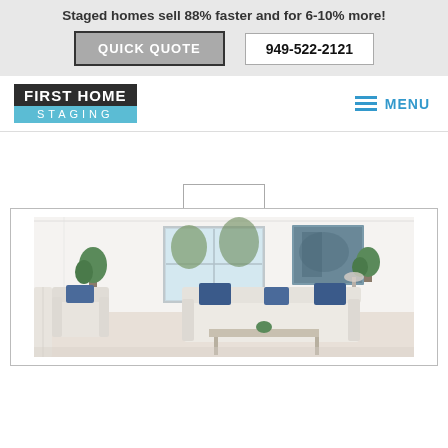Staged homes sell 88% faster and for 6-10% more!
QUICK QUOTE
949-522-2121
[Figure (logo): First Home Staging logo: dark block with 'FIRST HOME' in white, teal block with 'STAGING' in white letters]
MENU
[Figure (photo): Staged living room with white sofas, blue accent pillows, indoor plants, artwork on wall, natural light from windows]